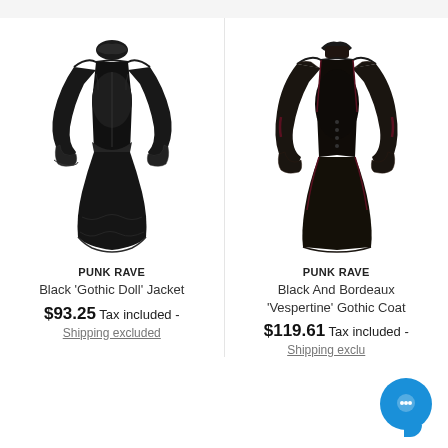[Figure (photo): Black Gothic Doll Jacket by Punk Rave — a dark gothic jacket with high collar, open front revealing a corset, long sleeves with lace cuffs, and a lace-trimmed skirt hem, front view on white background]
PUNK RAVE
Black 'Gothic Doll' Jacket
$93.25 Tax included - Shipping excluded
[Figure (photo): Black and Bordeaux Vespertine Gothic Coat by Punk Rave — a long gothic coat with high collar, open front with corset-style bodice, long sleeves with dark red accents, floor length, front view on white background]
PUNK RAVE
Black And Bordeaux 'Vespertine' Gothic Coat
$119.61 Tax included - Shipping excluded